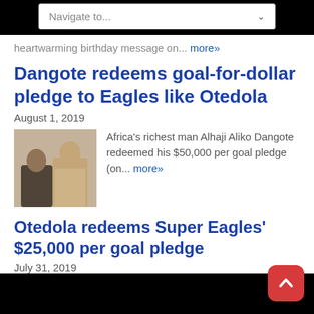Navigate to...
heartwarming birthday message on... more»
Dangote redeems goal-for-dollar pledge to Eagles like Otedola
August 1, 2019
[Figure (photo): Two men shaking hands or exchanging something in a formal setting]
Africa's richest man Alhaji Aliko Dangote redeemed his $50,000 per goal pledge (on... more»
Otedola redeems Super Eagles' $25,000 per goal pledge
July 31, 2019